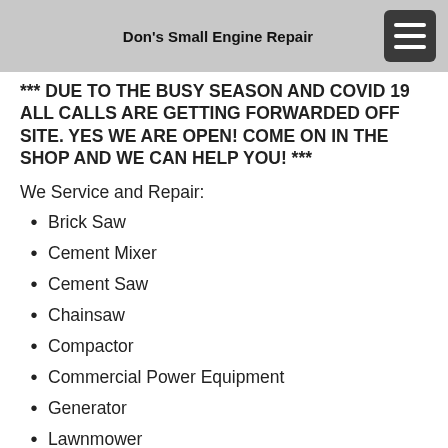Don's Small Engine Repair
*** DUE TO THE BUSY SEASON AND COVID 19 ALL CALLS ARE GETTING FORWARDED OFF SITE. YES WE ARE OPEN! COME ON IN THE SHOP AND WE CAN HELP YOU! ***
We Service and Repair:
Brick Saw
Cement Mixer
Cement Saw
Chainsaw
Compactor
Commercial Power Equipment
Generator
Lawnmower
Leaf Blower
Line Trimmer
Mower - All Types
Power Washer
Post Hole Digger
Rear Engine Rider
Riding Mower
Snow Blower